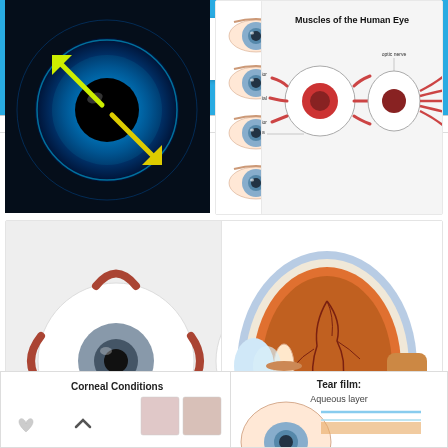[Figure (screenshot): Search bar UI showing 'cornea' query with Vectors filter and orange search button on blue background]
[Figure (illustration): Blue glowing eye with yellow arrows indicating cornea cross-section]
[Figure (illustration): Multiple human eye diagrams showing cornea and related conditions in rows]
[Figure (engineering-diagram): Muscles of the Human Eye diagram showing frontal and side views with labels]
[Figure (illustration): Two eyeball diagrams with muscles shown from front and side views]
[Figure (engineering-diagram): Cross-section of human eye showing internal anatomy with orange/blue coloring]
Corneal Conditions
Tear film:
Aqueous layer